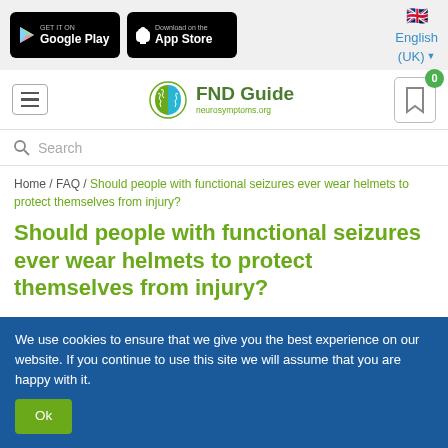[Figure (screenshot): Top bar with Google Play and App Store download buttons, and English (UK) language selector]
[Figure (logo): FND Guide logo with brain icon and neurosymptoms.org subtitle, hamburger menu, and bookmark icon with 0 badge]
Search
Home / FAQ / Should people with functional seizures ever wear helmets to protect themselves from injury?
Should people with functional seizures ever wear helmets to protect themselves from injury?
We use cookies to ensure that we give you the best experience on our website. If you continue to use this site we will assume that you are happy with it.